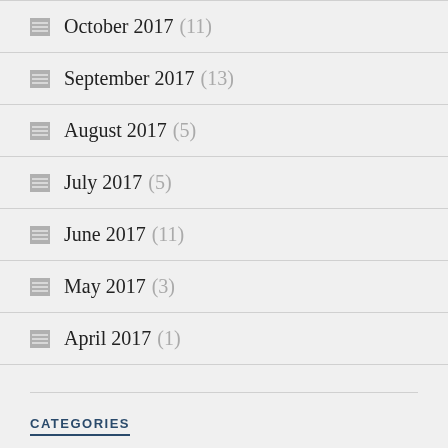October 2017 (11)
September 2017 (13)
August 2017 (5)
July 2017 (5)
June 2017 (11)
May 2017 (3)
April 2017 (1)
CATEGORIES